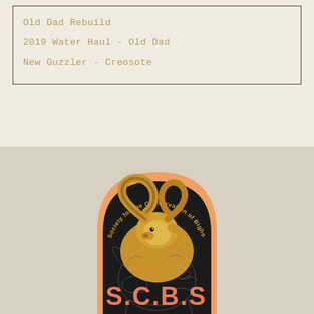Old Dad Rebuild
2019 Water Haul - Old Dad
New Guzzler - Creosote
[Figure (logo): Society for the Conservation of Bighorn Sheep (S.C.B.S.) logo: arch-shaped badge with dark background, golden bighorn sheep ram illustration, text arcing at top reading 'Society for the Conservation of Bighorn Sheep', and large salmon/orange letters S.C.B.S. at bottom.]
[Figure (illustration): Faint pencil sketch outline of a bighorn sheep head at bottom of page.]